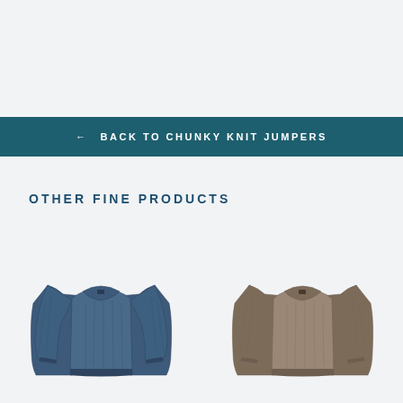BACK TO CHUNKY KNIT JUMPERS
OTHER FINE PRODUCTS
[Figure (photo): Blue chunky knit crew neck jumper/sweater on white background]
[Figure (photo): Brown/taupe chunky knit crew neck jumper/sweater on white background]